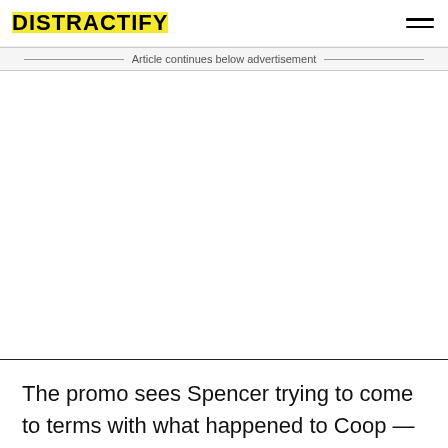DISTRACTIFY
Article continues below advertisement
The promo sees Spencer trying to come to terms with what happened to Coop — and it sounds like everyone is